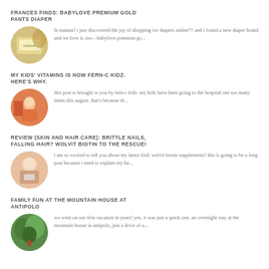FRANCES FINDS: BABYLOVE PREMIUM GOLD PANTS DIAPER
hi mamas! i just discovered the joy of shopping for diapers online!!! and i found a new diaper brand and we love it, too—babylove premium go...
[Figure (photo): Circular thumbnail photo of babylove premium diaper packaging]
MY KIDS' VITAMINS IS NOW FERN-C KIDZ. HERE'S WHY.
this post is brought to you by fern-c kidz. my kids have been going to the hospital one too many times this august. that's because th...
[Figure (photo): Circular thumbnail photo of a child outdoors]
REVIEW (SKIN AND HAIR CARE): BRITTLE NAILS, FALLING HAIR? WOLVIT BIOTIN TO THE RESCUE!
i am so excited to tell you about my latest find: wolvit biotin supplements! this is going to be a long post because i need to explain my ha...
[Figure (photo): Circular thumbnail photo of a woman smiling holding something]
FAMILY FUN AT THE MOUNTAIN HOUSE AT ANTIPOLO
we went on our first vacation in years! yes, it was just a quick one, an overnight stay at the mountain house in antipolo, just a drive of a...
[Figure (photo): Circular thumbnail photo of lush green trees/nature]